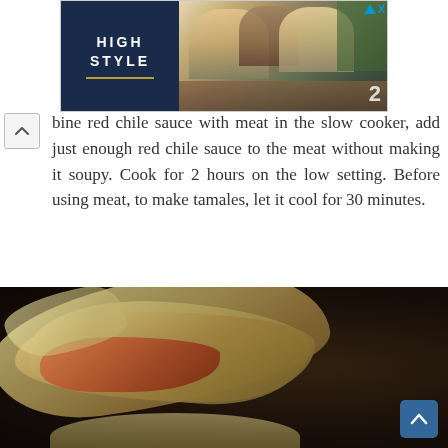[Figure (photo): Advertisement banner showing 'HIGH STYLE' text on dark navy background on the left, and a photo of people dining outdoors on the right]
bine red chile sauce with meat in the slow cooker, add just enough red chile sauce to the meat without making it soupy. Cook for 2 hours on the low setting. Before using meat, to make tamales, let it cool for 30 minutes.
[Figure (photo): Close-up photograph of tamales, showing corn husks and filling with red chile meat, on a wooden surface with dark background]